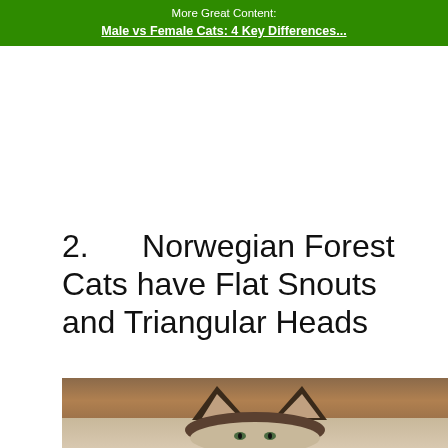More Great Content: Male vs Female Cats: 4 Key Differences...
2.      Norwegian Forest Cats have Flat Snouts and Triangular Heads
[Figure (photo): A Norwegian Forest Cat photographed from above, showing its triangular head and pointed ears, with tabby/brown coloring on top and lighter face below.]